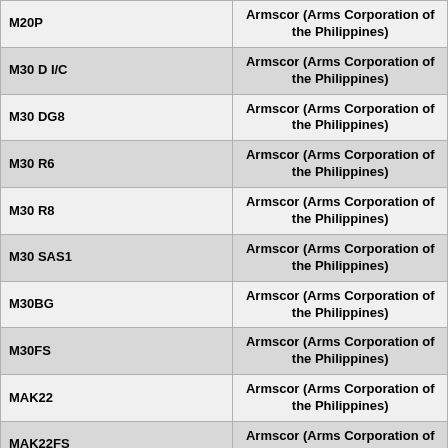| Model | Manufacturer |
| --- | --- |
| M20P | Armscor (Arms Corporation of the Philippines) |
| M30 D I/C | Armscor (Arms Corporation of the Philippines) |
| M30 DG8 | Armscor (Arms Corporation of the Philippines) |
| M30 R6 | Armscor (Arms Corporation of the Philippines) |
| M30 R8 | Armscor (Arms Corporation of the Philippines) |
| M30 SAS1 | Armscor (Arms Corporation of the Philippines) |
| M30BG | Armscor (Arms Corporation of the Philippines) |
| M30FS | Armscor (Arms Corporation of the Philippines) |
| MAK22 | Armscor (Arms Corporation of the Philippines) |
| MAK22FS | Armscor (Arms Corporation of the Philippines) |
| Military | Rhone De Leon Malcom - Shooters Arms Manufacturing |
| Omega | Rhone De Leon Malcom - Shooters Arms Manufacturing |
| Pistol | Armscor (Arms Corporation of the Philippines) |
| Protector | Rhone De Leon Malcom - Shooters Arms Manufacturing |
| Raven | Rhone De Leon Malcom - Shooters Arms Manufacturing |
| Retractable | Armscor (Arms Corporation of the Philippines) |
| Sigma | Rhone De Leon Malcom - Shooters Arms Manufacturing |
| (partial row) | Armscor (Arms Corporation of the... |